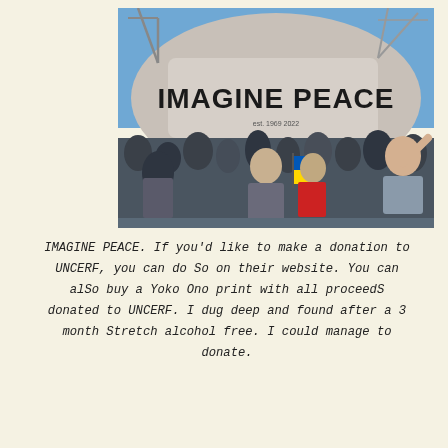[Figure (photo): Outdoor crowd scene with people gathered in a public square. In the background is a large curved building with a huge billboard reading 'IMAGINE PEACE'. Construction cranes visible against a blue sky. A shaved-head person stands prominently in the foreground, with others holding blue and yellow flags. An older man raises his arm on the right.]
IMAGINE PEACE. If you'd like to make a donation to UNCERF, you can do So on their website. You can alSo buy a Yoko Ono print with all proceedS donated to UNCERF. I dug deep and found after a 3 month Stretch alcohol free. I could manage to donate.